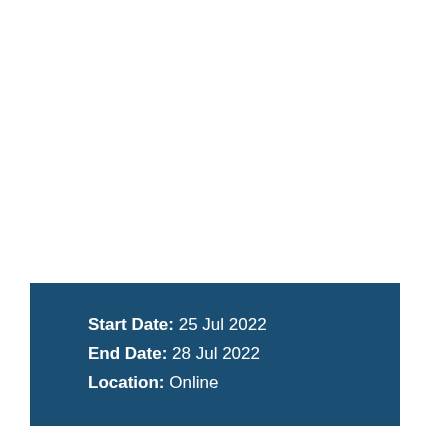Start Date: 25 Jul 2022
End Date: 28 Jul 2022
Location: Online